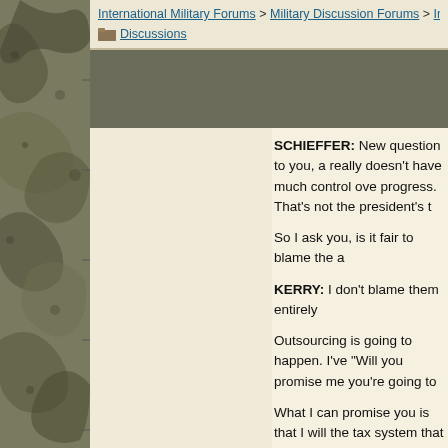International Military Forums > Military Discussion Forums > International Military Discussions
SCHIEFFER: New question to you, a really doesn't have much control ove progress. That's not the president's t
So I ask you, is it fair to blame the a
KERRY: I don't blame them entirely
Outsourcing is going to happen. I've "Will you promise me you're going to
What I can promise you is that I will the tax system that you as a worker
Today, if you're an American busines
So if you're looking at a competitive
That's not smart. I don't want Americ loophole in a nanosecond and we're And we're going to have a manufact
The second thing that we can do is p violating international rules and subs months.
The first thing that we can do is